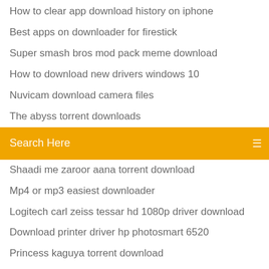How to clear app download history on iphone
Best apps on downloader for firestick
Super smash bros mod pack meme download
How to download new drivers windows 10
Nuvicam download camera files
The abyss torrent downloads
[Figure (screenshot): Orange search bar with text 'Search Here' and a menu icon on the right]
Shaadi me zaroor aana torrent download
Mp4 or mp3 easiest downloader
Logitech carl zeiss tessar hd 1080p driver download
Download printer driver hp photosmart 6520
Princess kaguya torrent download
Too much tnt mod 1.12.2 download minecraft
Boss movie download mp4
Minecraft pe beta download
The saint season 1 torrent download
Download the saferoot.zip file for verizon i535
Sould i download ios 11 iphone 6